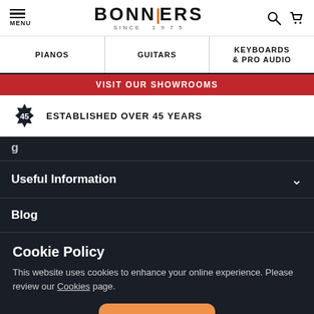MENU | BONNERS SINCE 1975
PIANOS | GUITARS | KEYBOARDS & PRO AUDIO
VISIT OUR SHOWROOMS
ESTABLISHED OVER 45 YEARS
(partial) g
Useful Information
Blog
Cookie Policy
This website uses cookies to enhance your online experience. Please review our Cookies page.
OK